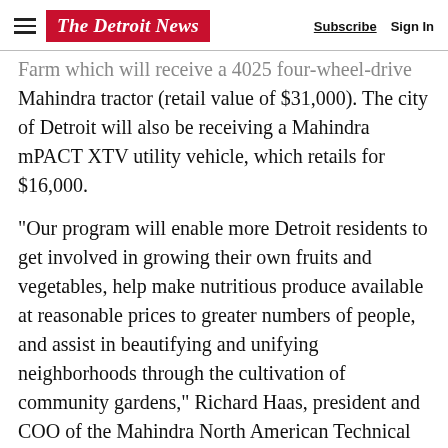The Detroit News | Subscribe | Sign In
Farm which will receive a 4025 four-wheel-drive Mahindra tractor (retail value of $31,000). The city of Detroit will also be receiving a Mahindra mPACT XTV utility vehicle, which retails for $16,000.
“Our program will enable more Detroit residents to get involved in growing their own fruits and vegetables, help make nutritious produce available at reasonable prices to greater numbers of people, and assist in beautifying and unifying neighborhoods through the cultivation of community gardens,” Richard Haas, president and COO of the Mahindra North American Technical Center, said in a statement. “Supporting urban agriculture in Detroit is a natural fit for